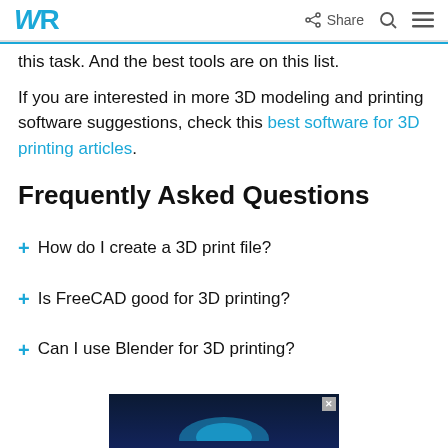WR | Share
this task. And the best tools are on this list.
If you are interested in more 3D modeling and printing software suggestions, check this best software for 3D printing articles.
Frequently Asked Questions
+ How do I create a 3D print file?
+ Is FreeCAD good for 3D printing?
+ Can I use Blender for 3D printing?
[Figure (other): Advertisement banner at bottom of page with dark blue background]